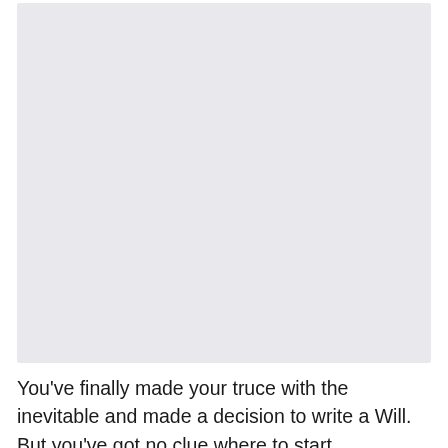[Figure (other): Large light gray rectangular placeholder image area]
You've finally made your truce with the inevitable and made a decision to write a Will. But you've got no clue where to start.